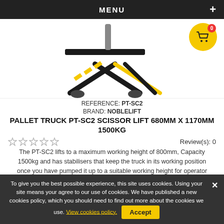MENU +
[Figure (photo): Pallet truck PT-SC2 scissor lift product photo on white background, with yellow cart icon showing 0 items]
REFERENCE: PT-SC2
BRAND: NOBLELIFT
PALLET TRUCK PT-SC2 SCISSOR LIFT 680MM X 1170MM 1500KG
Review(s): 0
The PT-SC2 lifts to a maximum working height of 800mm, Capacity 1500kg and has stabilisers that keep the truck in its working position once you have pumped it up to a suitable working height for operator safety.
£519.00 vat excl.
£622.80 vat incl.
To give you the best possible experience, this site uses cookies. Using your site means your agree to our use of cookies. We have published a new cookies policy, which you should need to find out more about the cookies we use. View cookies policy. Accept